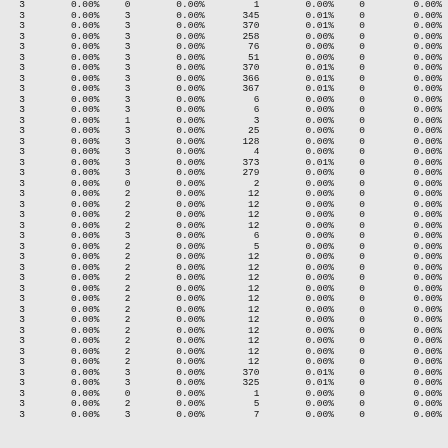| 3 | 0.00% | 0 | 0.00% | 1 | 0.00% | 0 | 0.00% |
| 3 | 0.00% | 3 | 0.00% | 345 | 0.01% | 0 | 0.00% |
| 3 | 0.00% | 3 | 0.00% | 370 | 0.01% | 0 | 0.00% |
| 3 | 0.00% | 3 | 0.00% | 258 | 0.00% | 0 | 0.00% |
| 3 | 0.00% | 3 | 0.00% | 76 | 0.00% | 0 | 0.00% |
| 3 | 0.00% | 3 | 0.00% | 51 | 0.00% | 0 | 0.00% |
| 3 | 0.00% | 3 | 0.00% | 370 | 0.01% | 0 | 0.00% |
| 3 | 0.00% | 3 | 0.00% | 366 | 0.01% | 0 | 0.00% |
| 3 | 0.00% | 3 | 0.00% | 367 | 0.01% | 0 | 0.00% |
| 3 | 0.00% | 3 | 0.00% | 6 | 0.00% | 0 | 0.00% |
| 3 | 0.00% | 3 | 0.00% | 6 | 0.00% | 0 | 0.00% |
| 3 | 0.00% | 1 | 0.00% | 3 | 0.00% | 0 | 0.00% |
| 3 | 0.00% | 3 | 0.00% | 25 | 0.00% | 0 | 0.00% |
| 3 | 0.00% | 3 | 0.00% | 128 | 0.00% | 0 | 0.00% |
| 3 | 0.00% | 3 | 0.00% | 4 | 0.00% | 0 | 0.00% |
| 3 | 0.00% | 3 | 0.00% | 373 | 0.01% | 0 | 0.00% |
| 3 | 0.00% | 3 | 0.00% | 279 | 0.00% | 0 | 0.00% |
| 3 | 0.00% | 0 | 0.00% | 2 | 0.00% | 0 | 0.00% |
| 3 | 0.00% | 2 | 0.00% | 12 | 0.00% | 0 | 0.00% |
| 3 | 0.00% | 2 | 0.00% | 12 | 0.00% | 0 | 0.00% |
| 3 | 0.00% | 2 | 0.00% | 12 | 0.00% | 0 | 0.00% |
| 3 | 0.00% | 2 | 0.00% | 12 | 0.00% | 0 | 0.00% |
| 3 | 0.00% | 3 | 0.00% | 6 | 0.00% | 0 | 0.00% |
| 3 | 0.00% | 2 | 0.00% | 5 | 0.00% | 0 | 0.00% |
| 3 | 0.00% | 2 | 0.00% | 12 | 0.00% | 0 | 0.00% |
| 3 | 0.00% | 2 | 0.00% | 12 | 0.00% | 0 | 0.00% |
| 3 | 0.00% | 2 | 0.00% | 12 | 0.00% | 0 | 0.00% |
| 3 | 0.00% | 2 | 0.00% | 12 | 0.00% | 0 | 0.00% |
| 3 | 0.00% | 2 | 0.00% | 12 | 0.00% | 0 | 0.00% |
| 3 | 0.00% | 2 | 0.00% | 12 | 0.00% | 0 | 0.00% |
| 3 | 0.00% | 2 | 0.00% | 12 | 0.00% | 0 | 0.00% |
| 3 | 0.00% | 2 | 0.00% | 12 | 0.00% | 0 | 0.00% |
| 3 | 0.00% | 2 | 0.00% | 12 | 0.00% | 0 | 0.00% |
| 3 | 0.00% | 2 | 0.00% | 12 | 0.00% | 0 | 0.00% |
| 3 | 0.00% | 2 | 0.00% | 12 | 0.00% | 0 | 0.00% |
| 3 | 0.00% | 2 | 0.00% | 12 | 0.00% | 0 | 0.00% |
| 3 | 0.00% | 3 | 0.00% | 370 | 0.01% | 0 | 0.00% |
| 3 | 0.00% | 3 | 0.00% | 325 | 0.01% | 0 | 0.00% |
| 3 | 0.00% | 0 | 0.00% | 1 | 0.00% | 0 | 0.00% |
| 3 | 0.00% | 2 | 0.00% | 5 | 0.00% | 0 | 0.00% |
| 3 | 0.00% | 3 | 0.00% | 7 | 0.00% | 0 | 0.00% |